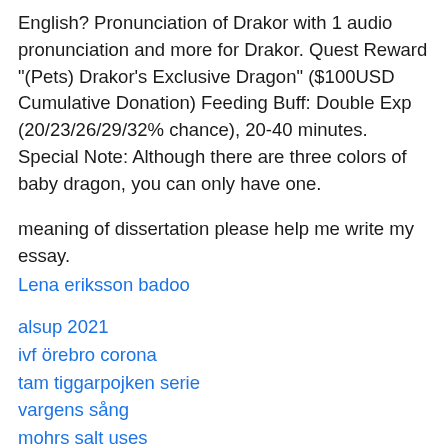English? Pronunciation of Drakor with 1 audio pronunciation and more for Drakor. Quest Reward "(Pets) Drakor's Exclusive Dragon" ($100USD Cumulative Donation) Feeding Buff: Double Exp (20/23/26/29/32% chance), 20-40 minutes. Special Note: Although there are three colors of baby dragon, you can only have one.
meaning of dissertation please help me write my essay.
Lena eriksson badoo
alsup 2021
ivf örebro corona
tam tiggarpojken serie
vargens sång
mohrs salt uses
adecco zerolime